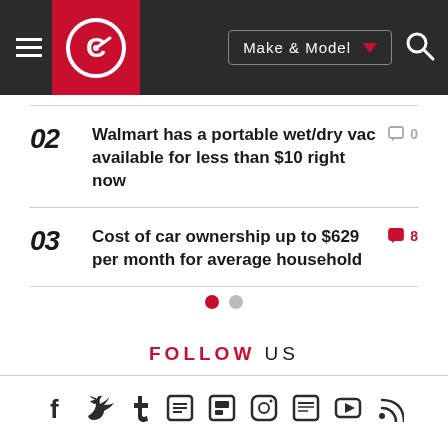[Figure (screenshot): Navigation bar with hamburger menu, Carfax logo in red box, Make & Model dropdown button, and search icon on dark background]
02 Walmart has a portable wet/dry vac available for less than $10 right now  0
03 Cost of car ownership up to $629 per month for average household  8
FOLLOW US
[Figure (infographic): Social media icons row: Facebook, Twitter, Tumblr, Mastodon, Flipboard, Instagram, News, YouTube, RSS]